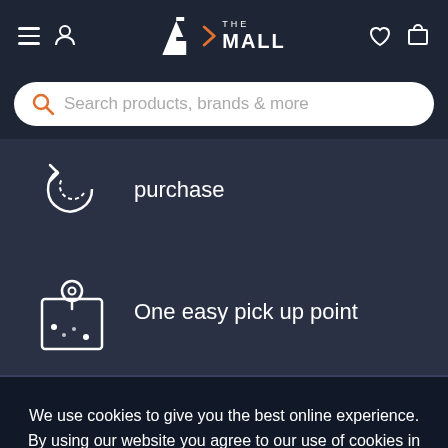A> THE MALL — navigation header with hamburger menu, user icon, logo, heart/cart icons
Search products, brands & more
[Figure (illustration): Partial circular return/refresh icon in white outline on dark blue background]
purchase
[Figure (illustration): Map pin / location icon on a map outline in white on dark blue background]
One easy pick up point
We use cookies to give you the best online experience. By using our website you agree to our use of cookies in accordance with our privacy policy
Continue